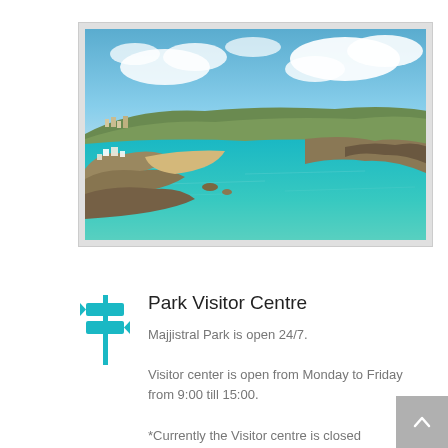[Figure (photo): Aerial/elevated view of a coastal bay with turquoise water, sandy beach, rocky cliffs, white buildings, and a blue sky with white clouds in the background — Majjistral Park, Malta.]
Park Visitor Centre
Majjistral Park is open 24/7.
Visitor center is open from Monday to Friday from 9:00 till 15:00.
*Currently the Visitor centre is closed due to the Corona virus situation.